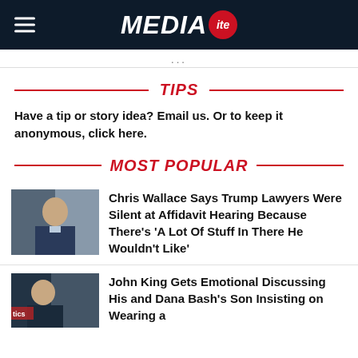MEDIAITE
TIPS
Have a tip or story idea? Email us. Or to keep it anonymous, click here.
MOST POPULAR
[Figure (photo): Thumbnail photo of a man in a suit, appears to be a TV anchor]
Chris Wallace Says Trump Lawyers Were Silent at Affidavit Hearing Because There's 'A Lot Of Stuff In There He Wouldn't Like'
[Figure (photo): Thumbnail photo of a man, partially visible, TV graphics in background]
John King Gets Emotional Discussing His and Dana Bash's Son Insisting on Wearing a